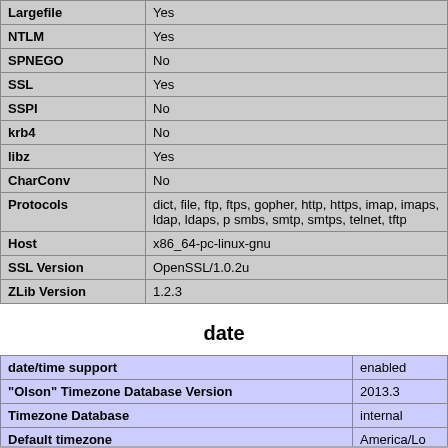| Feature | Value |
| --- | --- |
| Largefile | Yes |
| NTLM | Yes |
| SPNEGO | No |
| SSL | Yes |
| SSPI | No |
| krb4 | No |
| libz | Yes |
| CharConv | No |
| Protocols | dict, file, ftp, ftps, gopher, http, https, imap, imaps, ldap, ldaps, p smbs, smtp, smtps, telnet, tftp |
| Host | x86_64-pc-linux-gnu |
| SSL Version | OpenSSL/1.0.2u |
| ZLib Version | 1.2.3 |
date
| Feature | Value |
| --- | --- |
| date/time support | enabled |
| "Olson" Timezone Database Version | 2013.3 |
| Timezone Database | internal |
| Default timezone | America/Lo |